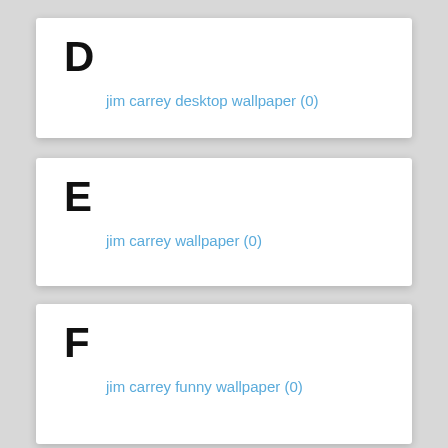D
jim carrey desktop wallpaper (0)
E
jim carrey wallpaper (0)
F
jim carrey funny wallpaper (0)